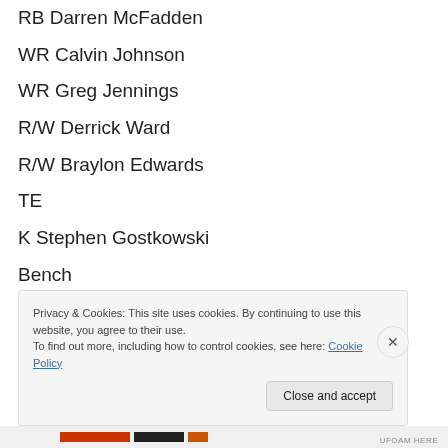RB Darren McFadden
WR Calvin Johnson
WR Greg Jennings
R/W Derrick Ward
R/W Braylon Edwards
TE
K Stephen Gostkowski
Bench
Bench
Bench
Bench
Privacy & Cookies: This site uses cookies. By continuing to use this website, you agree to their use.
To find out more, including how to control cookies, see here: Cookie Policy
Close and accept